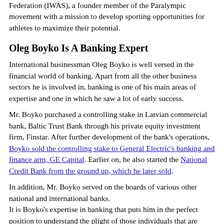Federation (IWAS), a founder member of the Paralympic movement with a mission to develop sporting opportunities for athletes to maximize their potential.
Oleg Boyko Is A Banking Expert
International businessman Oleg Boyko is well versed in the financial world of banking. Apart from all the other business sectors he is involved in, banking is one of his main areas of expertise and one in which he saw a lot of early success.
Mr. Boyko purchased a controlling stake in Latvian commercial bank, Baltic Trust Bank through his private equity investment firm, Finstar. After further development of the bank’s operations, Boyko sold the controlling stake to General Electric’s banking and finance arm, GE Capital. Earlier on, he also started the National Credit Bank from the ground up, which he later sold.
In addition, Mr. Boyko served on the boards of various other national and international banks. It is Boyko’s expertise in banking that puts him in the perfect position to understand the plight of those individuals that are underbanked and underserved by traditional financial services, and